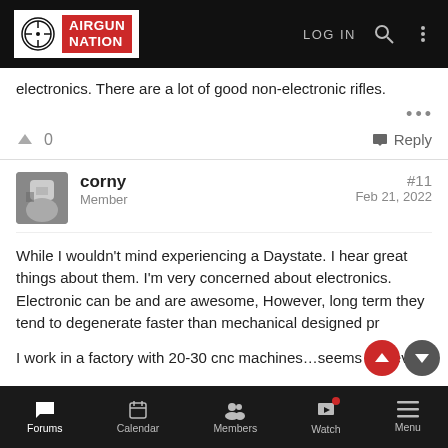AIRGUN NATION — LOG IN
electronics. There are a lot of good non-electronic rifles.
0   ↑ Reply
corny
Member
#11
Feb 21, 2022
While I wouldn't mind experiencing a Daystate. I hear great things about them. I'm very concerned about electronics. Electronic can be and are awesome, However, long term they tend to degenerate faster than mechanical designed products
I work in a factory with 20-30 cnc machines…seems like every
Forums  Calendar  Members  Watch  Menu